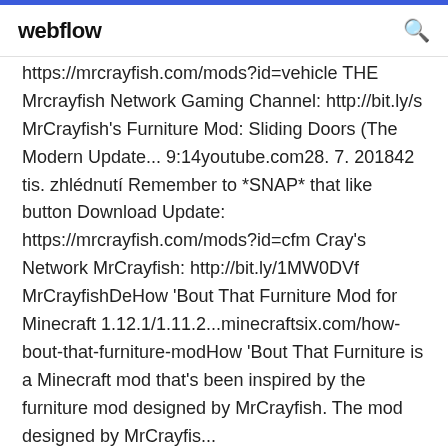webflow
https://mrcrayfish.com/mods?id=vehicle THE Mrcrayfish Network Gaming Channel: http://bit.ly/s MrCrayfish's Furniture Mod: Sliding Doors (The Modern Update... 9:14youtube.com28. 7. 201842 tis. zhlédnutí Remember to *SNAP* that like button Download Update: https://mrcrayfish.com/mods?id=cfm Cray's Network MrCrayfish: http://bit.ly/1MW0DVf MrCrayfishDeHow 'Bout That Furniture Mod for Minecraft 1.12.1/1.11.2...minecraftsix.com/how-bout-that-furniture-modHow 'Bout That Furniture is a Minecraft mod that's been inspired by the furniture mod designed by MrCrayfish. The mod designed by MrCrayfish...